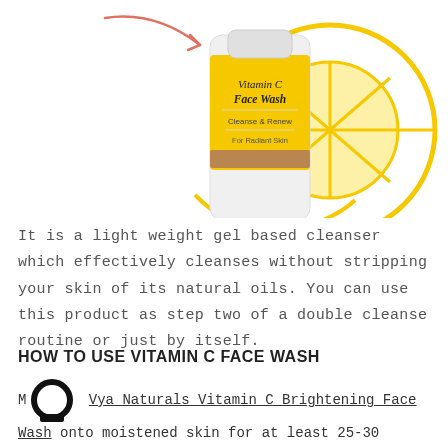[Figure (illustration): A Vitamin C Face Wash product bottle (yellow/white with script and sans-serif text reading 'Vitamin C Face Wash Cleanse & Renew For Radiant Skin') centered with a decorative yellow lemon slice illustration behind and to the right, and a coral/orange curved arrow pointing at the bottle from the upper left.]
It is a light weight gel based cleanser which effectively cleanses without stripping your skin of its natural oils. You can use this product as step two of a double cleanse routine or just by itself.
HOW TO USE VITAMIN C FACE WASH
M [logo] Vya Naturals Vitamin C Brightening Face Wash onto moistened skin for at least 25-30 seconds. This ensures that the active ingredient